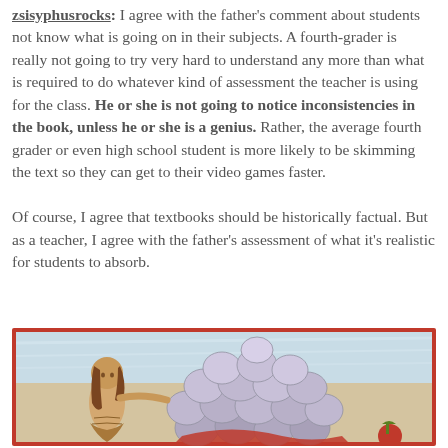zsisyphusrocks: I agree with the father's comment about students not know what is going on in their subjects. A fourth-grader is really not going to try very hard to understand any more than what is required to do whatever kind of assessment the teacher is using for the class. He or she is not going to notice inconsistencies in the book, unless he or she is a genius. Rather, the average fourth grader or even high school student is more likely to be skimming the text so they can get to their video games faster.

Of course, I agree that textbooks should be historically factual. But as a teacher, I agree with the father's assessment of what it's realistic for students to absorb.
[Figure (illustration): Medieval-style illuminated manuscript illustration showing a mermaid-like female figure on the left side touching or presenting a large cluster of round objects (possibly fruit or stones) piled high, with a red border framing the image. Sky is visible in the upper portion with blue-white tones.]